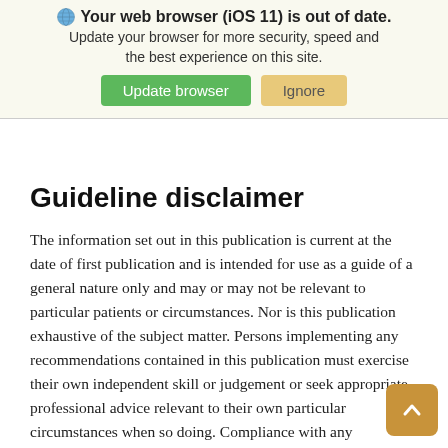[Figure (screenshot): Browser update warning banner with globe icon, bold title 'Your web browser (iOS 11) is out of date.', subtitle text, green 'Update browser' button, and tan 'Ignore' button]
Guideline disclaimer
The information set out in this publication is current at the date of first publication and is intended for use as a guide of a general nature only and may or may not be relevant to particular patients or circumstances. Nor is this publication exhaustive of the subject matter. Persons implementing any recommendations contained in this publication must exercise their own independent skill or judgement or seek appropriate professional advice relevant to their own particular circumstances when so doing. Compliance with any recommendations cannot of itself guarantee discharge of the duty of care owed to patients and others coming into contact with the health professional and the premises from which the health professional operates.